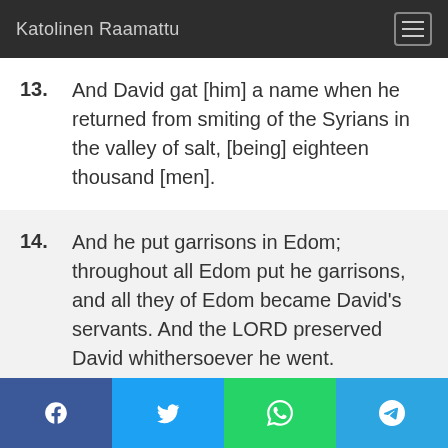Katolinen Raamattu
13. And David gat [him] a name when he returned from smiting of the Syrians in the valley of salt, [being] eighteen thousand [men].
14. And he put garrisons in Edom; throughout all Edom put he garrisons, and all they of Edom became David's servants. And the LORD preserved David whithersoever he went.
Facebook | Twitter | WhatsApp | Telegram